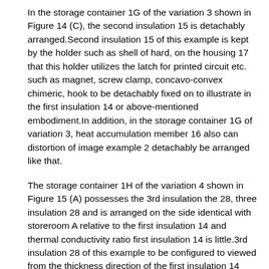In the storage container 1G of the variation 3 shown in Figure 14 (C), the second insulation 15 is detachably arranged.Second insulation 15 of this example is kept by the holder such as shell of hard, on the housing 17 that this holder utilizes the latch for printed circuit etc. such as magnet, screw clamp, concavo-convex chimeric, hook to be detachably fixed on to illustrate in the first insulation 14 or above-mentioned embodiment.In addition, in the storage container 1G of variation 3, heat accumulation member 16 also can distortion of image example 2 detachably be arranged like that.
The storage container 1H of the variation 4 shown in Figure 15 (A) possesses the 3rd insulation the 28, three insulation 28 and is arranged on the side identical with storeroom A relative to the first insulation 14 and thermal conductivity ratio first insulation 14 is little.3rd insulation 28 of this example to be configured to viewed from the thickness direction of the first insulation 14 that it is overlapping with the periphery of the second insulation 15 at least partially.In this example, be configured to from the second insulation 15 viewed from the thickness direction of the first insulation 14, overlapping with its heat accumulation